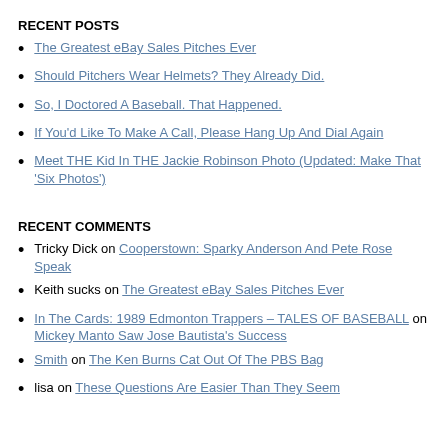RECENT POSTS
The Greatest eBay Sales Pitches Ever
Should Pitchers Wear Helmets? They Already Did.
So, I Doctored A Baseball. That Happened.
If You'd Like To Make A Call, Please Hang Up And Dial Again
Meet THE Kid In THE Jackie Robinson Photo (Updated: Make That 'Six Photos')
RECENT COMMENTS
Tricky Dick on Cooperstown: Sparky Anderson And Pete Rose Speak
Keith sucks on The Greatest eBay Sales Pitches Ever
In The Cards: 1989 Edmonton Trappers – TALES OF BASEBALL on Mickey Manto Saw Jose Bautista's Success
Smith on The Ken Burns Cat Out Of The PBS Bag
lisa on These Questions Are Easier Than They Seem